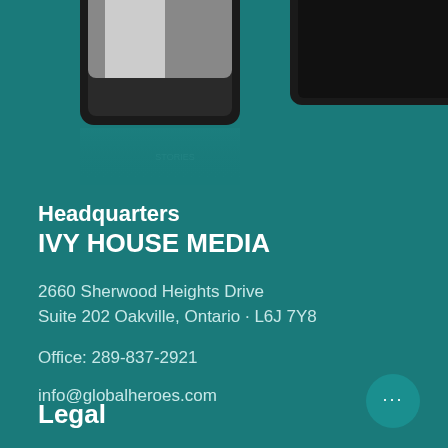[Figure (illustration): Two smartphone/tablet devices shown at the top of the page on a teal background, partially cropped]
Headquarters
IVY HOUSE MEDIA
2660 Sherwood Heights Drive
Suite 202 Oakville, Ontario · L6J 7Y8
Office: 289-837-2921
info@globalheroes.com
Legal